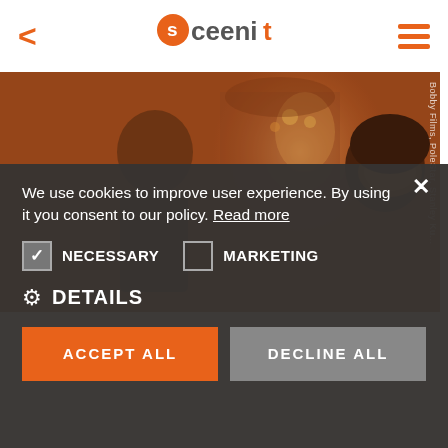[Figure (logo): Sceenit logo with orange location pin icon and gray/dark text]
[Figure (photo): Movie still from a masked ball scene with a man in suit and woman wearing ornate mask, warm orange-brown tones. Credit: Bobby Films, PoleStar, Stanley Ku...]
We use cookies to improve user experience. By using it you consent to our policy. Read more
NECESSARY
MARKETING
DETAILS
ACCEPT ALL
DECLINE ALL